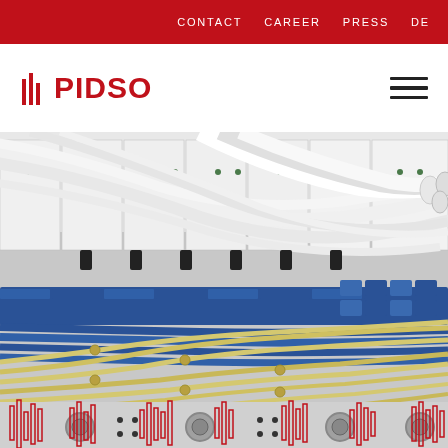CONTACT   CAREER   PRESS   DE
[Figure (logo): IPIDSO company logo in red with vertical bar marks before text]
[Figure (photo): Close-up photo of fiber optic and ethernet cables connected to network switching equipment. White, blue, and yellow cables are visible plugged into a white rack-mounted device with various ports and indicators.]
[Figure (infographic): Red and white barcode-style vertical bars decorative overlay at bottom of image]